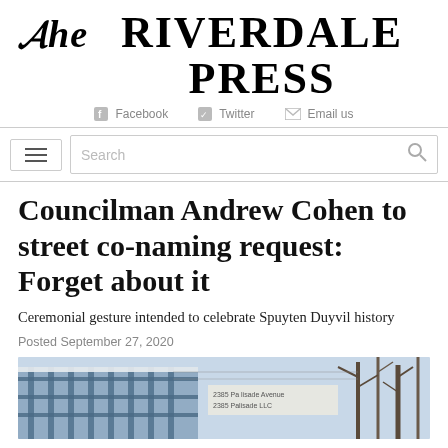The RIVERDALE PRESS
Facebook   Twitter   Email us
Councilman Andrew Cohen to street co-naming request: Forget about it
Ceremonial gesture intended to celebrate Spuyten Duyvil history
Posted September 27, 2020
[Figure (photo): Photograph of a building structure with a sign reading '2385 Palisade Avenue' and '2385 Palisade LLC', with bare trees in the background]